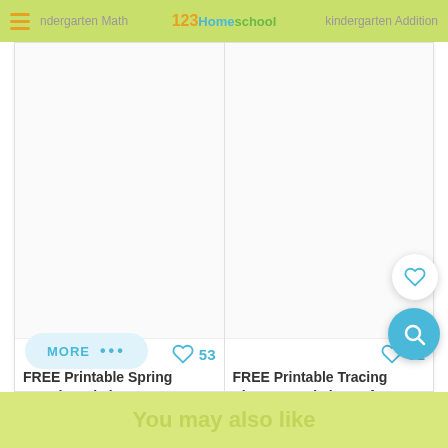Kindergarten Math  |  123Homeschool  |  Kindergarten Addition
[Figure (screenshot): Two worksheet thumbnail card images (blank white areas showing worksheet previews)]
53
72
FREE Printable Spring Vowel Worksheets Kindergarten &...
FREE Printable Tracing Shapes Worksheets for...  42
MORE  •••
You may also like